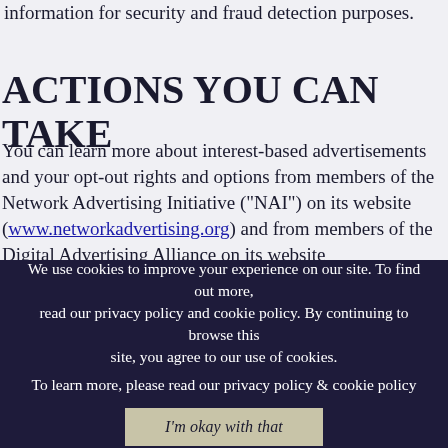information for security and fraud detection purposes.
ACTIONS YOU CAN TAKE
You can learn more about interest-based advertisements and your opt-out rights and options from members of the Network Advertising Initiative ("NAI") on its website (www.networkadvertising.org) and from members of the Digital Advertising Alliance on its website (www.aboutads.info). We do not control third parties' collection or use of your information to serve interest-based advertising. However, these third parties may provide you with ways to choose not to have your
We use cookies to improve your experience on our site. To find out more, read our privacy policy and cookie policy. By continuing to browse this site, you agree to our use of cookies.
To learn more, please read our privacy policy & cookie policy
I'm okay with that